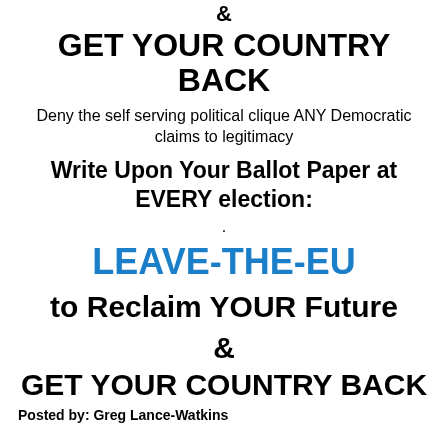&
GET YOUR COUNTRY BACK
Deny the self serving political clique ANY Democratic claims to legitimacy
Write Upon Your Ballot Paper at EVERY election:
.
LEAVE-THE-EU
to Reclaim YOUR Future
&
GET YOUR COUNTRY BACK
Posted by: Greg Lance-Watkins